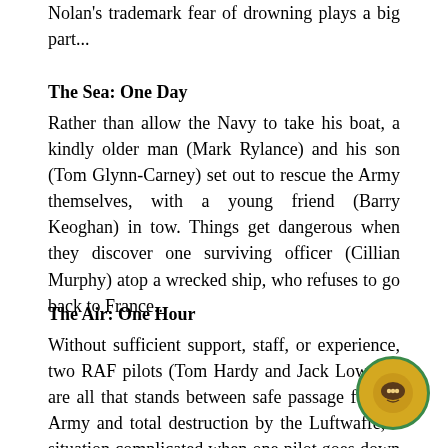Nolan's trademark fear of drowning plays a big part...
The Sea: One Day
Rather than allow the Navy to take his boat, a kindly older man (Mark Rylance) and his son (Tom Glynn-Carney) set out to rescue the Army themselves, with a young friend (Barry Keoghan) in tow. Things get dangerous when they discover one surviving officer (Cillian Murphy) atop a wrecked ship, who refuses to go back to France...
The Air: One Hour
Without sufficient support, staff, or experience, two RAF pilots (Tom Hardy and Jack Lowden) are all that stands between safe passage for the Army and total destruction by the Luftwaffe, a situation complicated when one pilot goes down and the